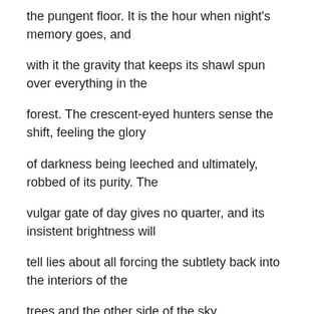the pungent floor. It is the hour when night's memory goes, and
with it the gravity that keeps its shawl spun over everything in the
forest. The crescent-eyed hunters sense the shift, feeling the glory
of darkness being leeched and ultimately, robbed of its purity. The
vulgar gate of day gives no quarter, and its insistent brightness will
tell lies about all forcing the subtlety back into the interiors of the
trees and the other side of the sky.